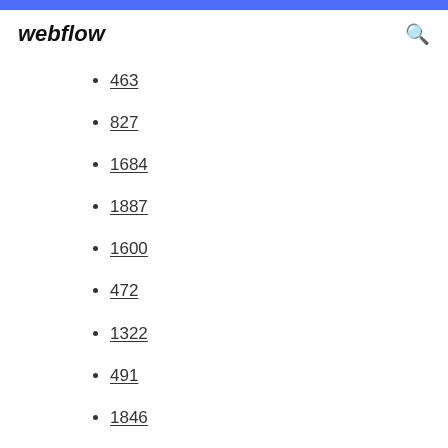webflow
463
827
1684
1887
1600
472
1322
491
1846
777
825
1673